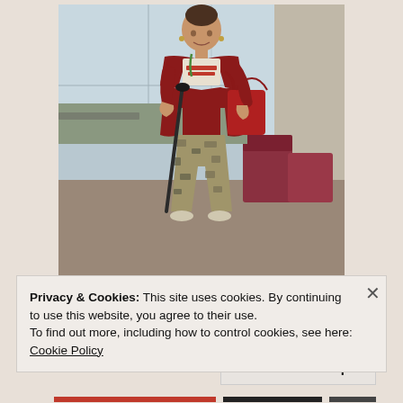[Figure (photo): A woman standing in what appears to be an airport terminal. She is wearing a white graphic t-shirt reading 'Scavenger Than You Think', a red cardigan, camouflage pants, and holding a black cane/crutch. She has a red handbag over her shoulder and appears to be smiling. Airport seating (burgundy/mauve chairs) is visible behind her along with large windows showing tarmac outside.]
Privacy & Cookies: This site uses cookies. By continuing to use this website, you agree to their use.
To find out more, including how to control cookies, see here: Cookie Policy
Close and accept